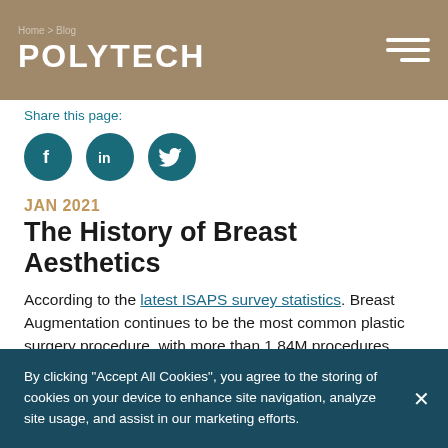Home > Blog — POLYTECH
Share this page:
[Figure (infographic): Three circular social media icons: Facebook (f), LinkedIn (in), Twitter (bird)]
JAN 2021
The History of Breast Aesthetics
According to the latest ISAPS survey statistics. Breast Augmentation continues to be the most common plastic surgery procedure, with more than 1.84M procedures performed in 2018, representing a 6%
By clicking "Accept All Cookies", you agree to the storing of cookies on your device to enhance site navigation, analyze site usage, and assist in our marketing efforts.